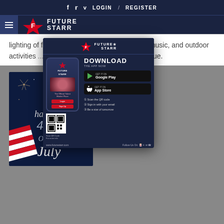f  t  v  LOGIN  /  REGISTER
[Figure (logo): Future Starr logo with hamburger menu and white star logo mark and FUTURE STARR text]
lighting of fireworks or electronic light shows, music, and outdoor activities [...]  flag, and the display of the USA [...] lue.
[Figure (illustration): Happy 4th of July graphic with fireworks and American flag on dark navy background]
[Figure (infographic): Future Starr app download popup overlay showing phone mockup, DOWNLOAD THE APP NOW text, Google Play and App Store buttons, QR code, steps to scan, and website www.futurestarr.com]